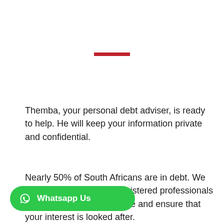[Figure (other): Short horizontal red decorative bar centered on the page]
Themba, your personal debt adviser, is ready to help. He will keep your information private and confidential.
Nearly 50% of South Africans are in debt. We can help you today. As registered professionals we give you the best advice and ensure that your interest is looked after.
[Figure (other): Green WhatsApp Us button with WhatsApp logo icon]